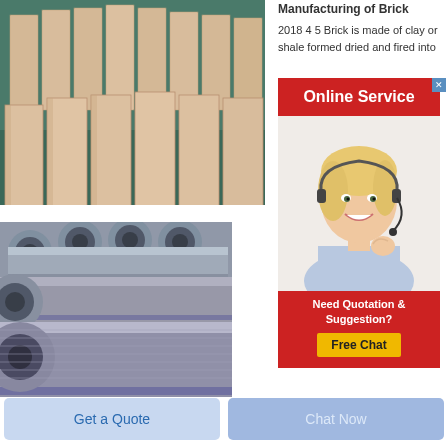[Figure (photo): Photo of rectangular refractory clay bricks stacked upright on a green floor in a factory setting]
Manufacturing of Brick
2018 4 5 Brick is made of clay or shale formed dried and fired into
[Figure (infographic): Online Service advertisement banner with a woman wearing a headset and a Free Chat button]
[Figure (photo): Photo of gray threaded cylindrical pipes/tubes stacked together]
Get a Quote
Chat Now